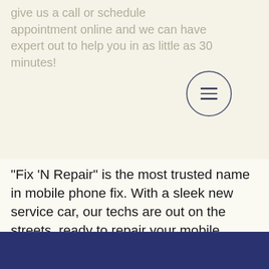give us a call or schedule appointment online and we can have expert out to help you in as little as 30 minutes!
[Figure (other): Hamburger menu button icon — three horizontal lines inside a circle outline]
“Fix ’N Repair” is the most trusted name in mobile phone fix. With a sleek new service car, our techs are out on the streets, ready to repair your mobile phone at your convenience! Our friendly technicians will come to your location & fix it while you wait. No more waiting at a phone store!Contact us today!